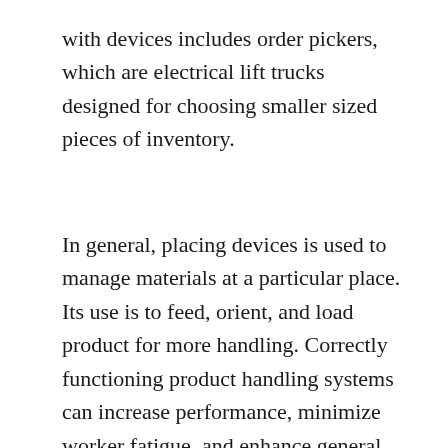with devices includes order pickers, which are electrical lift trucks designed for choosing smaller sized pieces of inventory.
In general, placing devices is used to manage materials at a particular place. Its use is to feed, orient, and load product for more handling. Correctly functioning product handling systems can increase performance, minimize worker fatigue, and enhance general employee safety.